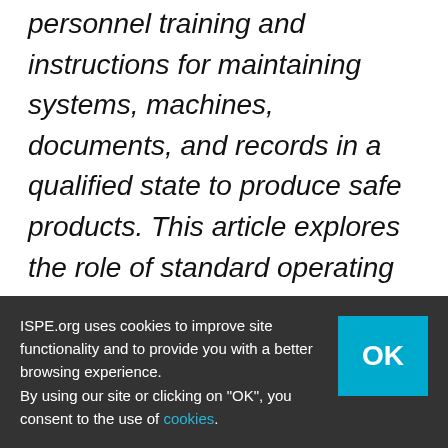personnel training and instructions for maintaining systems, machines, documents, and records in a qualified state to produce safe products. This article explores the role of standard operating procedures, as well as their structure and components.
The need for succinct, well-written, and focused standard operating procedures is best illustrated by examples. The
ISPE.org uses cookies to improve site functionality and to provide you with a better browsing experience.
By using our site or clicking on "OK", you consent to the use of cookies.